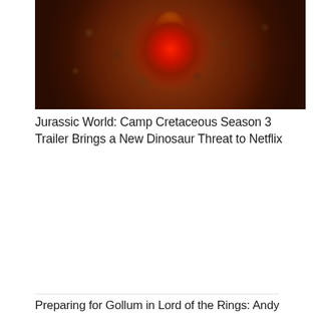[Figure (photo): Close-up overhead view of a glowing red dinosaur egg with fire/flame on top, surrounded by dark rocky or pebbly ground in a circular nest arrangement. The egg glows bright red and orange from internal light.]
Jurassic World: Camp Cretaceous Season 3 Trailer Brings a New Dinosaur Threat to Netflix
Preparing for Gollum in Lord of the Rings: Andy